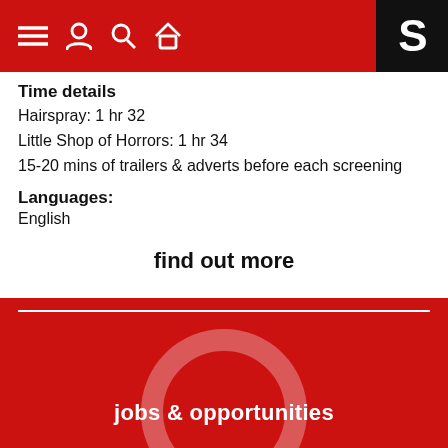Navigation bar with menu, user, search, home icons and Showcase cinema logo
Time details
Hairspray: 1 hr 32
Little Shop of Horrors: 1 hr 34
15-20 mins of trailers & adverts before each screening
Languages:
English
find out more
[Figure (infographic): Red banner section with a white horizontal rule, a large light-red circle outline graphic, and centered white bold text reading 'jobs & opportunities']